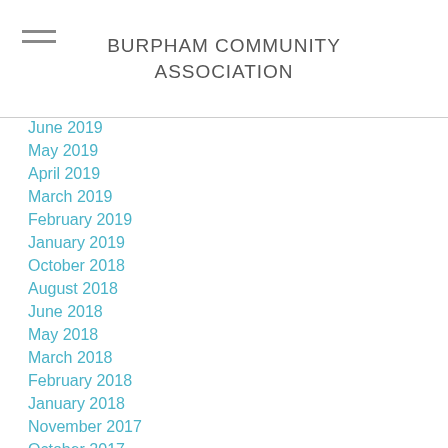BURPHAM COMMUNITY ASSOCIATION
June 2019
May 2019
April 2019
March 2019
February 2019
January 2019
October 2018
August 2018
June 2018
May 2018
March 2018
February 2018
January 2018
November 2017
October 2017
September 2017
April 2017
March...